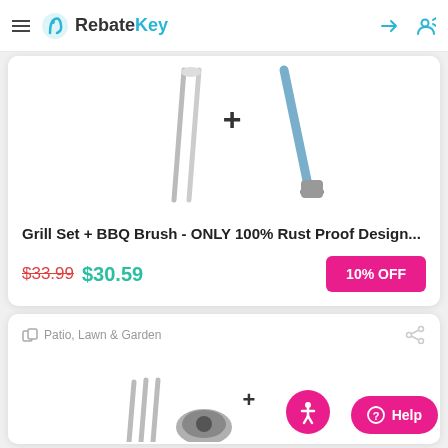RebateKey
[Figure (photo): Grill set and BBQ brush product image showing grilling tools on white background]
Grill Set + BBQ Brush - ONLY 100% Rust Proof Design...
$33.99 $30.59
10% OFF
Patio, Lawn & Garden
[Figure (photo): Second product image showing garden/patio tools, partially visible at bottom of page]